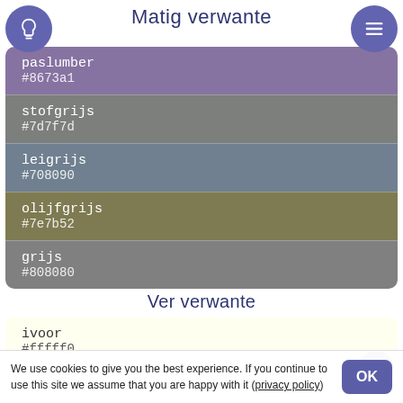Matig verwante
paslumber
#8673a1
stofgrijs
#7d7f7d
leigrijs
#708090
olijfgrijs
#7e7b52
grijs
#808080
Ver verwante
ivoor
#fffff0
We use cookies to give you the best experience. If you continue to use this site we assume that you are happy with it (privacy policy)